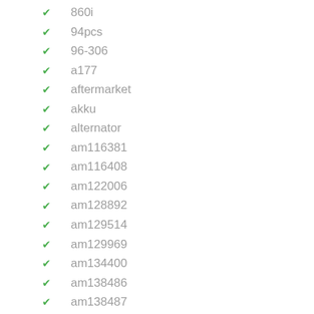860i
94pcs
96-306
a177
aftermarket
akku
alternator
am116381
am116408
am122006
am128892
am129514
am129969
am134400
am138486
am138487
am138528
am140946